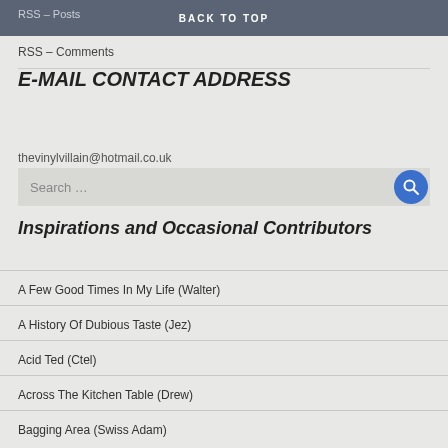RSS – Posts
BACK TO TOP
RSS – Comments
E-MAIL CONTACT ADDRESS
thevinylvillain@hotmail.co.uk
Search …
Inspirations and Occasional Contributors
A Few Good Times In My Life (Walter)
A History Of Dubious Taste (Jez)
Acid Ted (Ctel)
Across The Kitchen Table (Drew)
Bagging Area (Swiss Adam)
Cathedrals Of Sound (Friend of Rachel Worth)